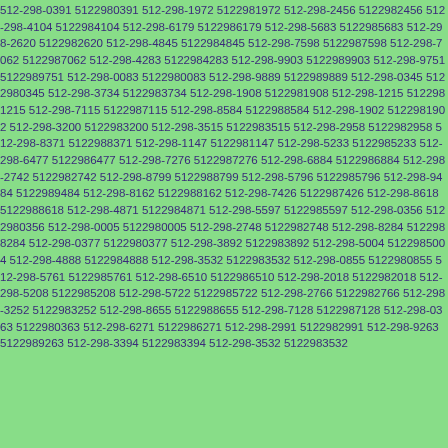512-298-0391 5122980391 512-298-1972 5122981972 512-298-2456 5122982456 512-298-4104 5122984104 512-298-6179 5122986179 512-298-5683 5122985683 512-298-2620 5122982620 512-298-4845 5122984845 512-298-7598 5122987598 512-298-7062 5122987062 512-298-4283 5122984283 512-298-9903 5122989903 512-298-9751 5122989751 512-298-0083 5122980083 512-298-9889 5122989889 512-298-0345 5122980345 512-298-3734 5122983734 512-298-1908 5122981908 512-298-1215 5122981215 512-298-7115 5122987115 512-298-8584 5122988584 512-298-1902 5122981902 512-298-3200 5122983200 512-298-3515 5122983515 512-298-2958 5122982958 512-298-8371 5122988371 512-298-1147 5122981147 512-298-5233 5122985233 512-298-6477 5122986477 512-298-7276 5122987276 512-298-6884 5122986884 512-298-2742 5122982742 512-298-8799 5122988799 512-298-5796 5122985796 512-298-9484 5122989484 512-298-8162 5122988162 512-298-7426 5122987426 512-298-8618 5122988618 512-298-4871 5122984871 512-298-5597 5122985597 512-298-0356 5122980356 512-298-0005 5122980005 512-298-2748 5122982748 512-298-8284 5122988284 512-298-0377 5122980377 512-298-3892 5122983892 512-298-5004 5122985004 512-298-4888 5122984888 512-298-3532 5122983532 512-298-0855 5122980855 512-298-5761 5122985761 512-298-6510 5122986510 512-298-2018 5122982018 512-298-5208 5122985208 512-298-5722 5122985722 512-298-2766 5122982766 512-298-3252 5122983252 512-298-8655 5122988655 512-298-7128 5122987128 512-298-0363 5122980363 512-298-6271 5122986271 512-298-2991 5122982991 512-298-9263 5122989263 512-298-3394 5122983394 512-298-3532 5122983532